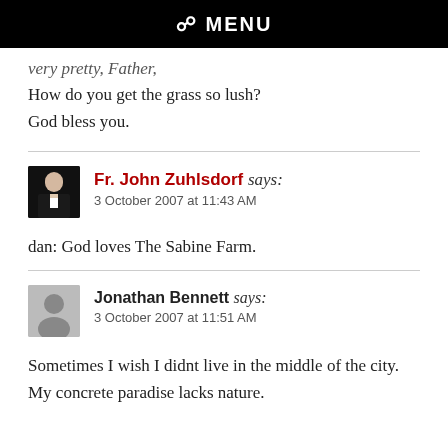☰ MENU
very pretty, Father,
How do you get the grass so lush?
God bless you.
Fr. John Zuhlsdorf says:
3 October 2007 at 11:43 AM
dan: God loves The Sabine Farm.
Jonathan Bennett says:
3 October 2007 at 11:51 AM
Sometimes I wish I didnt live in the middle of the city. My concrete paradise lacks nature.